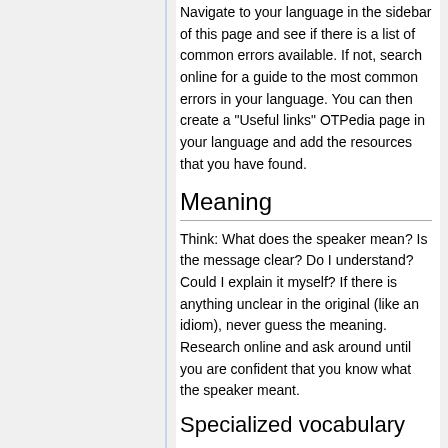Navigate to your language in the sidebar of this page and see if there is a list of common errors available. If not, search online for a guide to the most common errors in your language. You can then create a "Useful links" OTPedia page in your language and add the resources that you have found.
Meaning
Think: What does the speaker mean? Is the message clear? Do I understand? Could I explain it myself? If there is anything unclear in the original (like an idiom), never guess the meaning. Research online and ask around until you are confident that you know what the speaker meant.
Specialized vocabulary